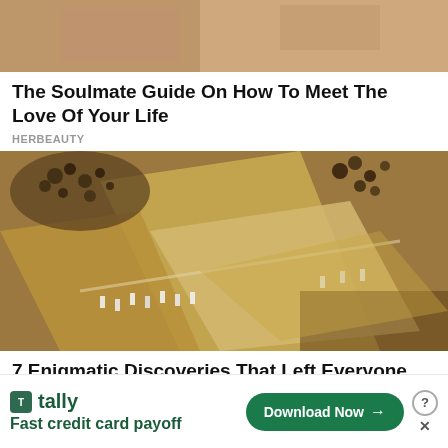[Figure (photo): Cropped photo of people, partially visible torsos]
The Soulmate Guide On How To Meet The Love Of Your Life
HERBEAUTY
[Figure (photo): Aerial view of an ancient archaeological excavation site with large stone blocks and workers]
7 Enigmatic Discoveries That Left Everyone
[Figure (infographic): Tally app advertisement banner: Fast credit card payoff, Download Now button]